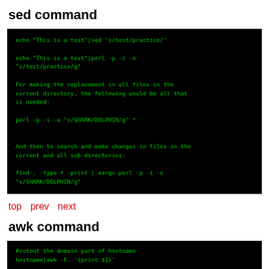sed command
[Figure (screenshot): Black terminal/code block showing sed and perl command examples including: echo "This is a test"|sed 's/test/practice/' and echo "This is a test"|perl -p -i -e "s/test/practice/g" with explanatory text about replacement in all files in the current directory using perl -p -i -e "s/SHARK/DOLPHIN/g" * and find . -type f -print | xargs perl -p -i -e "s/SHARK/DOLPHIN/g"]
top   prev  next
awk command
[Figure (screenshot): Black terminal/code block showing awk command beginning with #cutout the domain part of hostname]